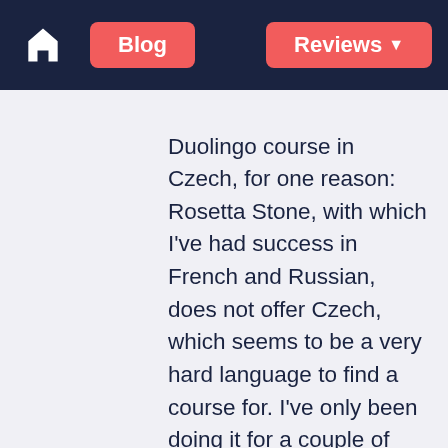Blog | Reviews
Duolingo course in Czech, for one reason: Rosetta Stone, with which I've had success in French and Russian, does not offer Czech, which seems to be a very hard language to find a course for. I've only been doing it for a couple of weeks, but I'm already disillusioned. It keeps throwing random phrases at you that you would never use in real life. I can't